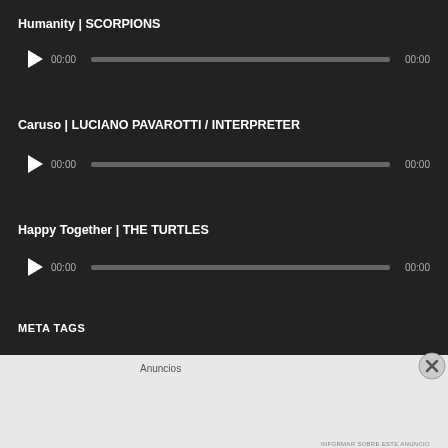Humanity | SCORPIONS
[Figure (other): Audio player with play button, 00:00 time display, progress bar, and 00:00 duration for Humanity by Scorpions]
Caruso | LUCIANO PAVAROTTI / INTERPRETER
[Figure (other): Audio player with play button, 00:00 time display, progress bar, and 00:00 duration for Caruso by Luciano Pavarotti]
Happy Together | THE TURTLES
[Figure (other): Audio player with play button, 00:00 time display, progress bar, and 00:00 duration for Happy Together by The Turtles]
META TAGS
Anuncios
[Figure (other): Advertisement banner: P2 logo with text 'Fewer meetings, more work.']